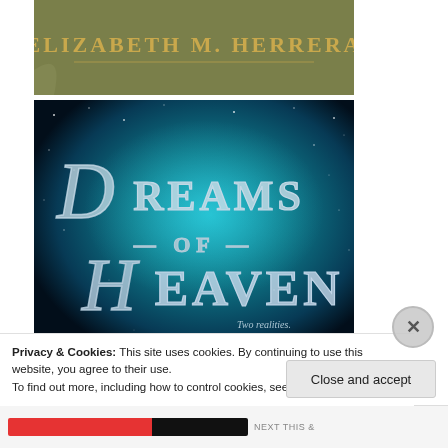[Figure (photo): Partial book cover showing author name ELIZABETH M. HERRERA on an olive/green background with a quill or feather element]
[Figure (photo): Book cover for 'Dreams of Heaven' by Elizabeth M. Herrera. Dark teal/blue starry nebula background with decorative script title text reading 'Dreams of Heaven' and tagline 'Two realities. One divine truth.']
Privacy & Cookies: This site uses cookies. By continuing to use this website, you agree to their use.
To find out more, including how to control cookies, see here: Cookie Policy
Close and accept